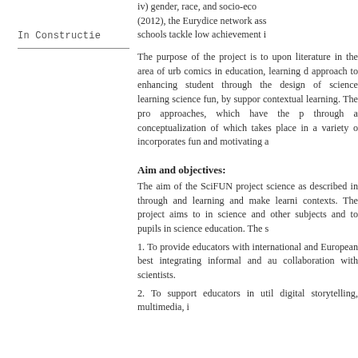In Constructie
iv) gender, race, and socio-eco... (2012), the Eurydice network ass... schools tackle low achievement i...
The purpose of the project is to... upon literature in the area of urb... comics in education, learning d... approach to enhancing student... through the design of science... learning science fun, by suppor... contextual learning. The pro... approaches, which have the p... through a conceptualization of... which takes place in a variety o... incorporates fun and motivating a...
Aim and objectives:
The aim of the SciFUN project... science as described in through... and learning and make learni... contexts. The project aims to in... science and other subjects and to... pupils in science education. The s...
1. To provide educators with... international and European best... integrating informal and au... collaboration with scientists.
2. To support educators in util... digital storytelling, multimedia,... i...